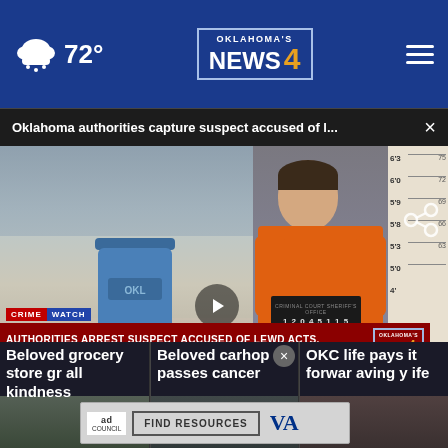[Figure (screenshot): Oklahoma's News 4 website header with weather (cloud/rain icon, 72°), News 4 logo centered, hamburger menu icon on right, all on dark blue background]
Oklahoma authorities capture suspect accused of l...  ×
[Figure (screenshot): News broadcast screenshot: left side shows outdoor scene with blue trash/recycling bin on driveway; right side shows mugshot of young male in orange jumpsuit holding booking placard against height chart background. Lower-third chyron reads: CRIME WATCH / AUTHORITIES ARREST SUSPECT ACCUSED OF LEWD ACTS, ATTEMPTED KIDNAPPING with Oklahoma's News 4 logo]
Beloved grocery store gr all kindness
Beloved carhop passes cancer
OKC life pays it forwar aving y ife
[Figure (screenshot): Ad bar with Ad Council logo, FIND RESOURCES button, and VA logo]